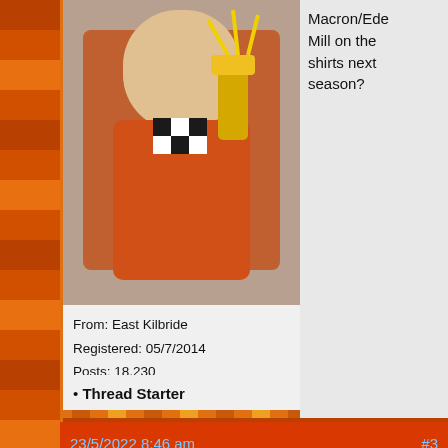[Figure (photo): Man in orange sports jersey holding trophy]
From: East Kilbride
Registered: 05/7/2014
Posts: 18,230
• Thread Starter
Macron/Eden Mill on the shirts next season?
23/5/2022 8:46 am
#3
Rick Dagless
Tekel Towers 1st Team
🔴Offline
[Figure (photo): Man with glasses and brown hair on yellow background]
Far as I know we will still be with Macron, not sure about